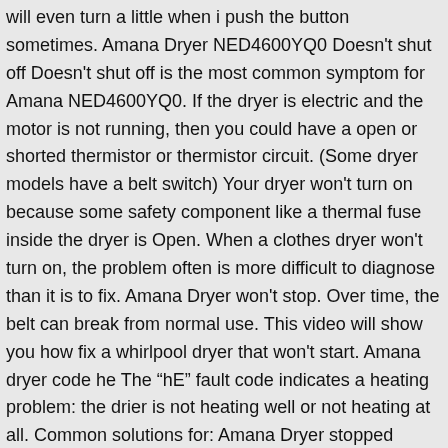will even turn a little when i push the button sometimes. Amana Dryer NED4600YQ0 Doesn't shut off Doesn't shut off is the most common symptom for Amana NED4600YQ0. If the dryer is electric and the motor is not running, then you could have a open or shorted thermistor or thermistor circuit. (Some dryer models have a belt switch) Your dryer won't turn on because some safety component like a thermal fuse inside the dryer is Open. When a clothes dryer won't turn on, the problem often is more difficult to diagnose than it is to fix. Amana Dryer won't stop. Over time, the belt can break from normal use. This video will show you how fix a whirlpool dryer that won't start. Amana dryer code he The "hE" fault code indicates a heating problem: the drier is not heating well or not heating at all. Common solutions for: Amana Dryer stopped spinning. What Causes the Thermal Cutoff to Keep Going Bad on a Dryer? Use a multimeter to test the start switch for continuity. On most dryers, when the dryer belt breaks, the motor will still run, but the drum won't turn. You need to remove the cover or back panel to access the thermal fuse, and if a